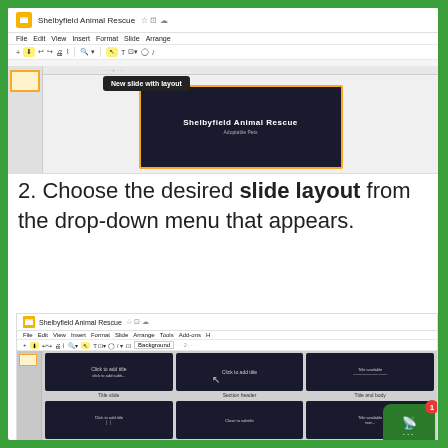[Figure (screenshot): Google Slides screenshot showing a presentation titled 'Shelbyfield Animal Rescue' with a tooltip that reads 'New slide with layout' appearing above the slide panel.]
2. Choose the desired slide layout from the drop-down menu that appears.
[Figure (screenshot): Google Slides screenshot showing the slide layout picker dropdown with options: Title slide, Section header, Title and body, Title and two columns, Title only, One column text, Main point, Section title and description, Caption.]